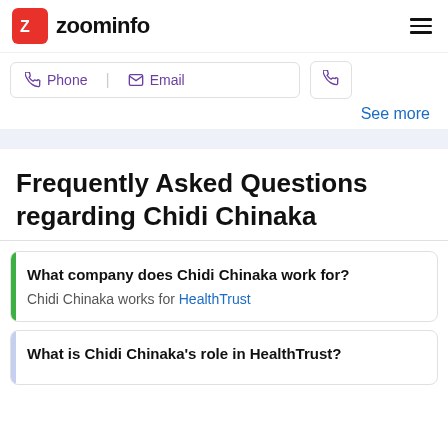zoominfo
Phone   Email
See more
Frequently Asked Questions regarding Chidi Chinaka
What company does Chidi Chinaka work for?
Chidi Chinaka works for HealthTrust
What is Chidi Chinaka's role in HealthTrust?